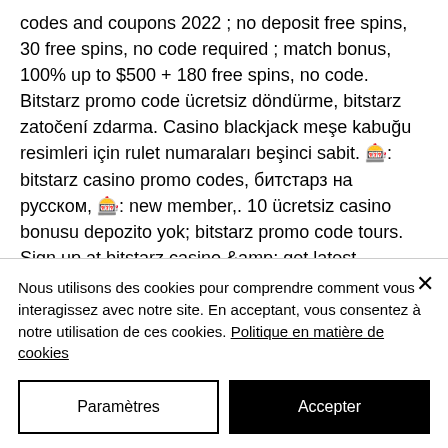codes and coupons 2022 ; no deposit free spins, 30 free spins, no code required ; match bonus, 100% up to $500 + 180 free spins, no code. Bitstarz promo code ücretsiz döndürme, bitstarz zatočení zdarma. Casino blackjack meşe kabuğu resimleri için rulet numaraları beşinci sabit. 🎰: bitstarz casino promo codes, битстарз на русском, 🎰: new member,. 10 ücretsiz casino bonusu depozito yok; bitstarz promo code tours. Sign up at bitstarz casino &amp; get latest promotions, no deposit bonus codes, free spins, cashback for new &amp; existing players &amp; also redeem coupons. And
Nous utilisons des cookies pour comprendre comment vous interagissez avec notre site. En acceptant, vous consentez à notre utilisation de ces cookies. Politique en matière de cookies